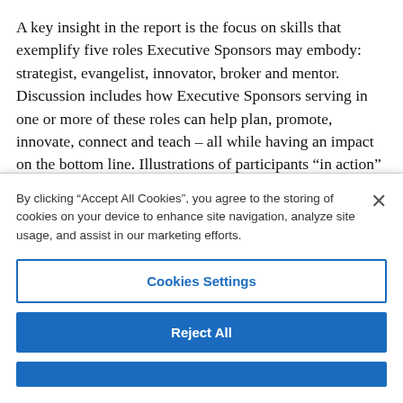A key insight in the report is the focus on skills that exemplify five roles Executive Sponsors may embody: strategist, evangelist, innovator, broker and mentor. Discussion includes how Executive Sponsors serving in one or more of these roles can help plan, promote, innovate, connect and teach – all while having an impact on the bottom line. Illustrations of participants “in action” are sprinkled throughout.
By clicking “Accept All Cookies”, you agree to the storing of cookies on your device to enhance site navigation, analyze site usage, and assist in our marketing efforts.
Cookies Settings
Reject All